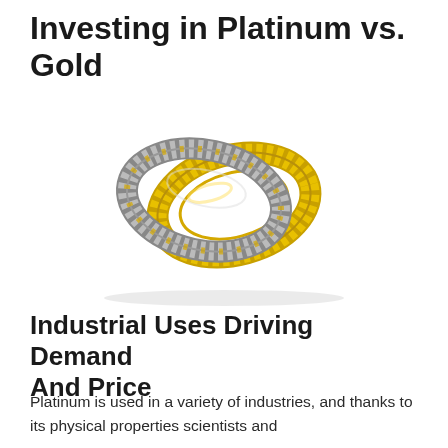Investing in Platinum vs. Gold
[Figure (photo): Two interlocked rings — one platinum/silver-toned and one gold-toned — shown at an angle against a white background.]
Industrial Uses Driving Demand And Price
Platinum is used in a variety of industries, and thanks to its physical properties scientists and manufacturers are continually finding...